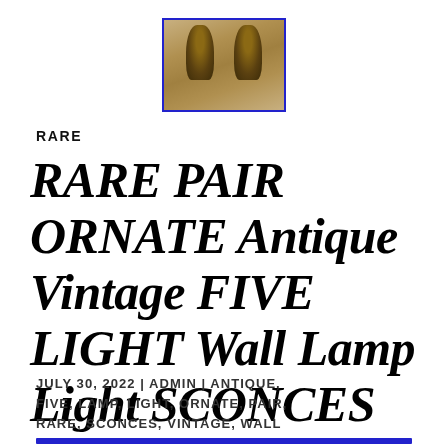[Figure (photo): Two ornate antique wall sconces photographed against a light background, shown as a pair, with elaborate decorative tops resembling stylized flames or foliage. Image has a blue border.]
RARE
RARE PAIR ORNATE Antique Vintage FIVE LIGHT Wall Lamp Light SCONCES
JULY 30, 2022 | ADMIN | ANTIQUE, FIVE, LAMP, LIGHT, ORNATE, PAIR, RARE, SCONCES, VINTAGE, WALL